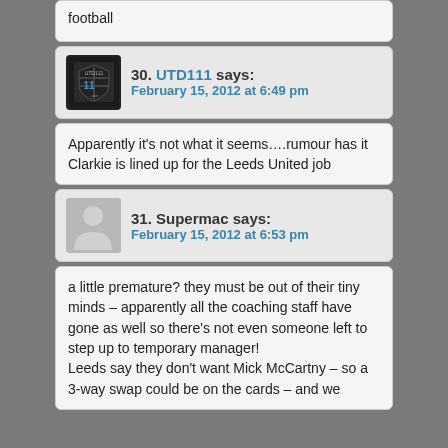football
30. UTD111 says:
February 15, 2012 at 6:49 pm
Apparently it's not what it seems….rumour has it Clarkie is lined up for the Leeds United job
31. Supermac says:
February 15, 2012 at 6:53 pm
a little premature? they must be out of their tiny minds – apparently all the coaching staff have gone as well so there's not even someone left to step up to temporary manager!
Leeds say they don't want Mick McCartny – so a 3-way swap could be on the cards – and we